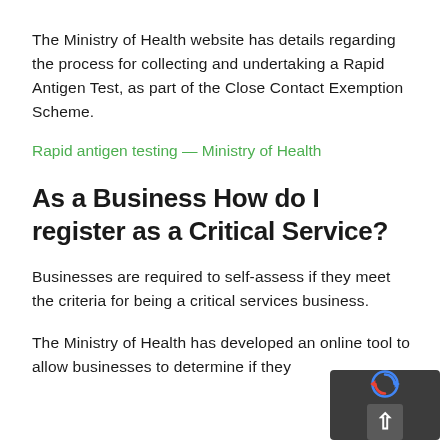The Ministry of Health website has details regarding the process for collecting and undertaking a Rapid Antigen Test, as part of the Close Contact Exemption Scheme.
Rapid antigen testing — Ministry of Health
As a Business How do I register as a Critical Service?
Businesses are required to self-assess if they meet the criteria for being a critical services business.
The Ministry of Health has developed an online tool to allow businesses to determine if they qualify and then register on the Close Contact...